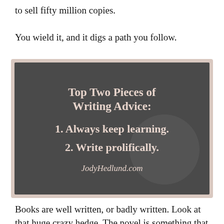to sell fifty million copies.
You wield it, and it digs a path you follow.
[Figure (infographic): Dark grey textured box with pink-beige border showing 'Top Two Pieces of Writing Advice: 1. Always keep learning. 2. Write prolifically. JodyHedlund.com' in white/cream bold text.]
Books are well written, or badly written. Look at that huge crazy hedge. The novel is something that never was